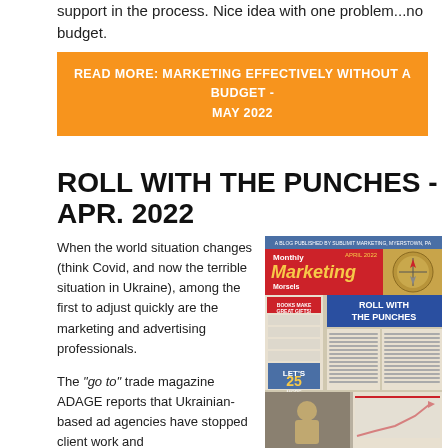support in the process. Nice idea with one problem...no budget.
READ MORE: MARKETING EFFECTIVELY WITHOUT A BUDGET - MAY 2022
ROLL WITH THE PUNCHES - APR. 2022
When the world situation changes (think Covid, and now the terrible situation in Ukraine), among the first to adjust quickly are the marketing and advertising professionals.
The "go to" trade magazine ADAGE reports that Ukrainian-based ad agencies have stopped client work and
[Figure (screenshot): Newsletter mockup showing Monthly Marketing Morsels April 2022 issue with 'Roll With The Punches' headline and article text, plus a second partial image below]